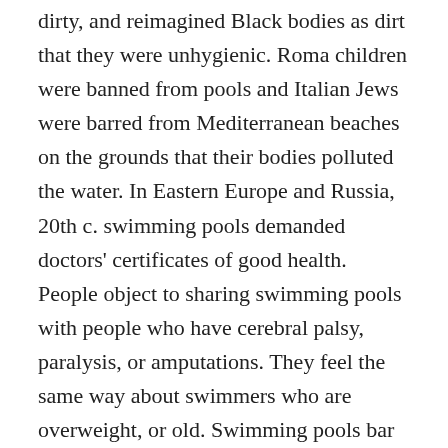dirty, and reimagined Black bodies as dirt that they were unhygienic. Roma children were banned from pools and Italian Jews were barred from Mediterranean beaches on the grounds that their bodies polluted the water. In Eastern Europe and Russia, 20th c. swimming pools demanded doctors' certificates of good health. People object to sharing swimming pools with people who have cerebral palsy, paralysis, or amputations. They feel the same way about swimmers who are overweight, or old. Swimming pools bar swimmers for having the wrong lotion, the wrong haircut, or the wrong type or color of swimsuit. Swimmers even reimagined Blackness as dirt that might come off in the water, so that in 2009 white women in Philadelphia still pulled their children out of the water rather than let them swim with Black